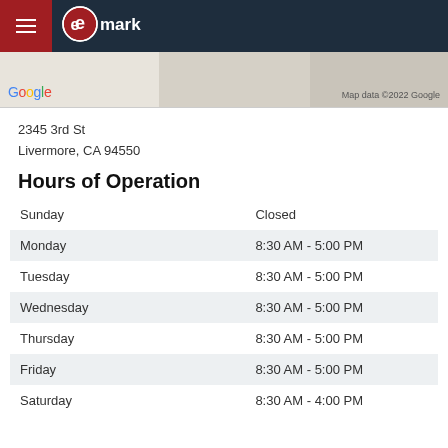Exmark navigation header
[Figure (screenshot): Google Maps partial view with map data copyright 2022 Google]
2345 3rd St
Livermore, CA 94550
Hours of Operation
| Day | Hours |
| --- | --- |
| Sunday | Closed |
| Monday | 8:30 AM - 5:00 PM |
| Tuesday | 8:30 AM - 5:00 PM |
| Wednesday | 8:30 AM - 5:00 PM |
| Thursday | 8:30 AM - 5:00 PM |
| Friday | 8:30 AM - 5:00 PM |
| Saturday | 8:30 AM - 4:00 PM |